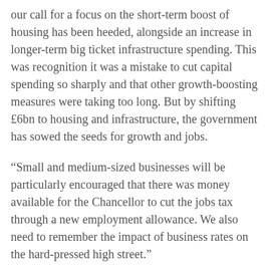our call for a focus on the short-term boost of housing has been heeded, alongside an increase in longer-term big ticket infrastructure spending. This was recognition it was a mistake to cut capital spending so sharply and that other growth-boosting measures were taking too long. But by shifting £6bn to housing and infrastructure, the government has sowed the seeds for growth and jobs.
“Small and medium-sized businesses will be particularly encouraged that there was money available for the Chancellor to cut the jobs tax through a new employment allowance. We also need to remember the impact of business rates on the hard-pressed high street.”